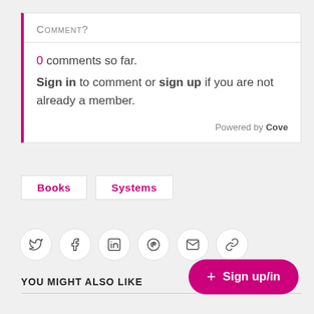Comment?
0 comments so far. Sign in to comment or sign up if you are not already a member.
Powered by Cove
Books
Systems
[Figure (infographic): Social sharing icons: Twitter, Facebook, LinkedIn, Pinterest, Email, Link]
YOU MIGHT ALSO LIKE
+ Sign up/in